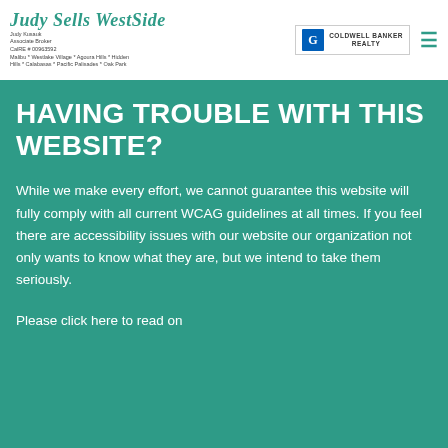Judy Sells WestSide | Judy Kusauk Associate Broker CalRE# 00963592 Malibu * Westlake Village * Agoura Hills * Hidden Hills * Calabasas * Pacific Palisades * Oak Park | COLDWELL BANKER REALTY
HAVING TROUBLE WITH THIS WEBSITE?
While we make every effort, we cannot guarantee this website will fully comply with all current WCAG guidelines at all times. If you feel there are accessibility issues with our website our organization not only wants to know what they are, but we intend to take them seriously.
Please click here to read on